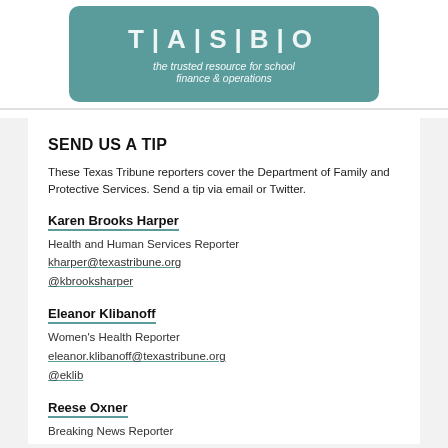[Figure (logo): TASBO logo banner with teal/green background and tagline 'the trusted resource for school finance & operations']
SEND US A TIP
These Texas Tribune reporters cover the Department of Family and Protective Services. Send a tip via email or Twitter.
Karen Brooks Harper
Health and Human Services Reporter
kharper@texastribune.org
@kbrooksharper
Eleanor Klibanoff
Women's Health Reporter
eleanor.klibanoff@texastribune.org
@eklib
Reese Oxner
Breaking News Reporter